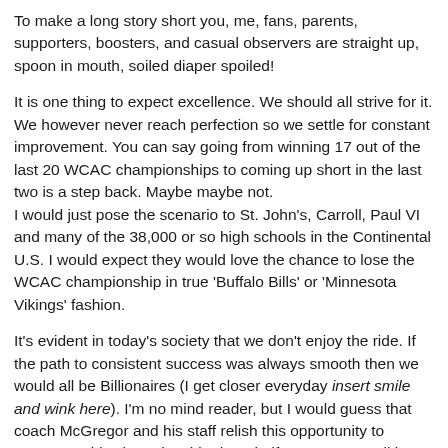To make a long story short you, me, fans, parents, supporters, boosters, and casual observers are straight up, spoon in mouth, soiled diaper spoiled!
It is one thing to expect excellence. We should all strive for it. We however never reach perfection so we settle for constant improvement. You can say going from winning 17 out of the last 20 WCAC championships to coming up short in the last two is a step back. Maybe maybe not.
I would just pose the scenario to St. John's, Carroll, Paul VI and many of the 38,000 or so high schools in the Continental U.S. I would expect they would love the chance to lose the WCAC championship in true 'Buffalo Bills' or 'Minnesota Vikings' fashion.
It's evident in today's society that we don't enjoy the ride. If the path to consistent success was always smooth then we would all be Billionaires (I get closer everyday insert smile and wink here). I'm no mind reader, but I would guess that coach McGregor and his staff relish this opportunity to overcome this championship drought if you want to call it that.